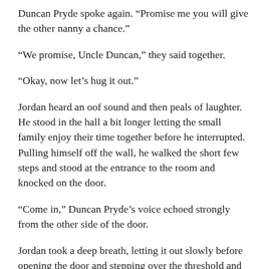Duncan Pryde spoke again. “Promise me you will give the other nanny a chance.”
“We promise, Uncle Duncan,” they said together.
“Okay, now let’s hug it out.”
Jordan heard an oof sound and then peals of laughter. He stood in the hall a bit longer letting the small family enjoy their time together before he interrupted. Pulling himself off the wall, he walked the short few steps and stood at the entrance to the room and knocked on the door.
“Come in,” Duncan Pryde’s voice echoed strongly from the other side of the door.
Jordan took a deep breath, letting it out slowly before opening the door and stepping over the threshold and stopped, he had to hold back the gasp that threatened to escape. Magazines and television did not do Duncan Pryde